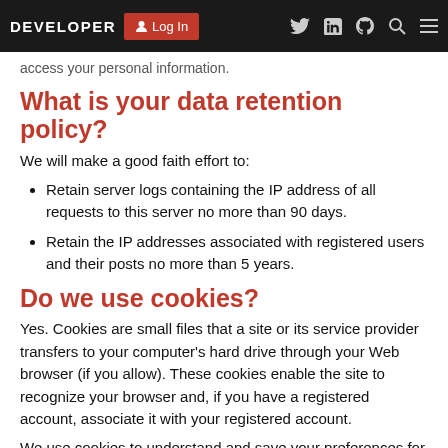DEVELOPER | Log In | Twitter | LinkedIn | GitHub | Search | Menu
access your personal information.
What is your data retention policy?
We will make a good faith effort to:
Retain server logs containing the IP address of all requests to this server no more than 90 days.
Retain the IP addresses associated with registered users and their posts no more than 5 years.
Do we use cookies?
Yes. Cookies are small files that a site or its service provider transfers to your computer's hard drive through your Web browser (if you allow). These cookies enable the site to recognize your browser and, if you have a registered account, associate it with your registered account.
We use cookies to understand and save your preferences for